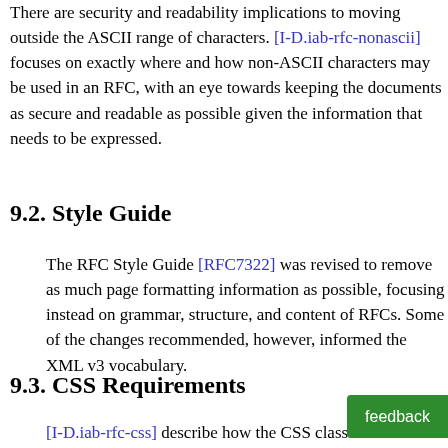There are security and readability implications to moving outside the ASCII range of characters. [I-D.iab-rfc-nonascii] focuses on exactly where and how non-ASCII characters may be used in an RFC, with an eye towards keeping the documents as secure and readable as possible given the information that needs to be expressed.
9.2. Style Guide
The RFC Style Guide [RFC7322] was revised to remove as much page formatting information as possible, focusing instead on grammar, structure, and content of RFCs. Some of the changes recommended, however, informed the XML v3 vocabulary.
9.3. CSS Requirements
[I-D.iab-rfc-css] describe how the CSS classes mentioned in the HTML format draft, "HyperText Markup...